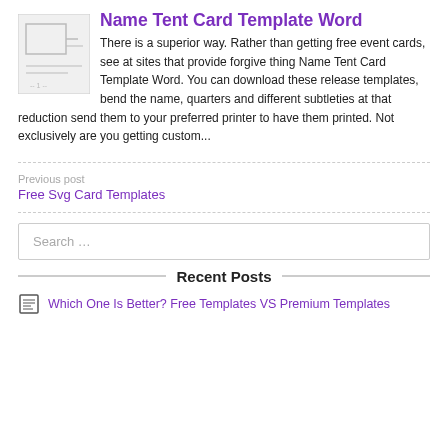Name Tent Card Template Word
There is a superior way. Rather than getting free event cards, see at sites that provide forgive thing Name Tent Card Template Word. You can download these release templates, bend the name, quarters and different subtleties at that reduction send them to your preferred printer to have them printed. Not exclusively are you getting custom...
Previous post
Free Svg Card Templates
Search …
Recent Posts
Which One Is Better? Free Templates VS Premium Templates